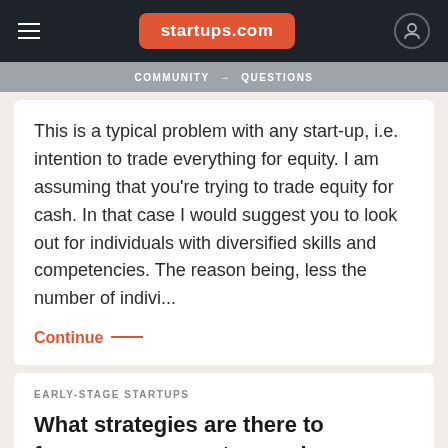startups.com
COMMUNITY → QUESTIONS
This is a typical problem with any start-up, i.e. intention to trade everything for equity. I am assuming that you're trying to trade equity for cash. In that case I would suggest you to look out for individuals with diversified skills and competencies. The reason being, less the number of indivi...
Continue —
EARLY-STAGE STARTUPS
What strategies are there to form a company at an early stage that is flexible (equity, control/titles, and